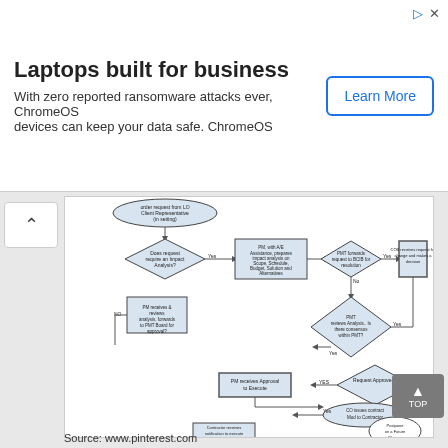[Figure (other): Advertisement banner: 'Laptops built for business' - With zero reported ransomware attacks ever, ChromeOS devices can keep your data safe. ChromeOS. Button: Learn More]
[Figure (flowchart): A project management flowchart showing steps: order request from LO Client Representative (in setting) -> Does request require an Impact Analysis? (diamond) -> Yes: PM, with A/E Assistance, prepares Impact analysis on Scope, Schedule, Budget, Solution and Alternatives -> PM forwards request to BCIB for resolution (diamond) -> Yes: COB receives request for change and makes a decision (rectangle) -> Yes: Request Approved? (diamond) -> YES: PM receives Approval to Execute (rectangle) -> CO issues contract Mod to Contractor (oval) -> Yes: Contractor receives notification to execute the requested change. No path from Request Approved to Postpone on a Future Change. No from PM forwards -> PMT reviews Analysis, is there consensus within PMT? (diamond) -> Yes (loops) -> Request Approved. No from Does request require -> PM receives & reviews analysis, forwards to PMT Board for approval? (rectangle). NO from PM receives -> loops to PMT reviews Analysis.]
Source: www.pinterest.com